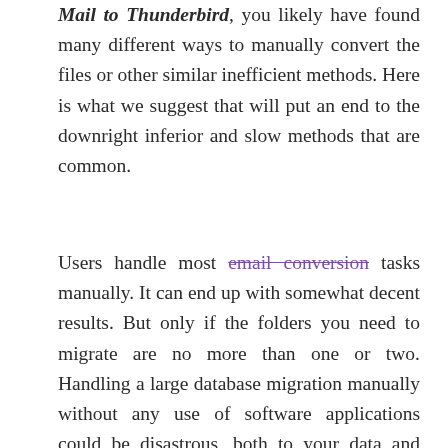Mail to Thunderbird, you likely have found many different ways to manually convert the files or other similar inefficient methods. Here is what we suggest that will put an end to the downright inferior and slow methods that are common.
Users handle most email conversion tasks manually. It can end up with somewhat decent results. But only if the folders you need to migrate are no more than one or two. Handling a large database migration manually without any use of software applications could be disastrous, both to your data and productivity.